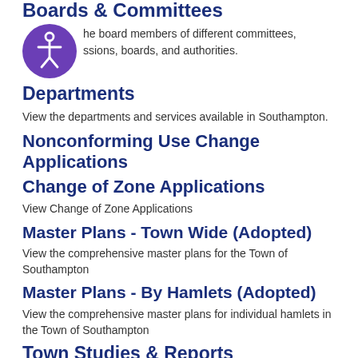Boards & Committees
the board members of different committees, issions, boards, and authorities.
Departments
View the departments and services available in Southampton.
Nonconforming Use Change Applications
Change of Zone Applications
View Change of Zone Applications
Master Plans - Town Wide (Adopted)
View the comprehensive master plans for the Town of Southampton
Master Plans - By Hamlets (Adopted)
View the comprehensive master plans for individual hamlets in the Town of Southampton
Town Studies & Reports